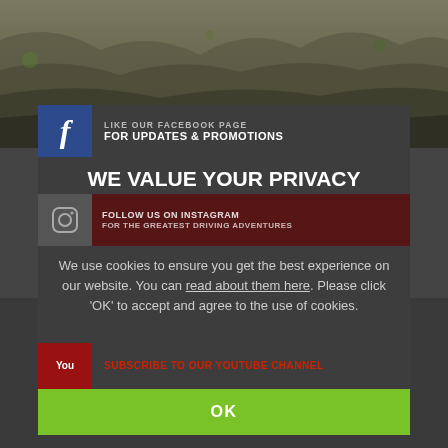[Figure (photo): Rocky mountain landscape background at top of page]
WE VALUE YOUR PRIVACY
We use cookies to ensure you get the best experience on our website. You can read about them here. Please click 'OK' to accept and agree to the use of cookies.
OK
[Figure (logo): Ultimate Drives - Driving Tours & Events logo with orange swirl icon]
DRIVING BREAKS
INFORMATION
#justdrive
Home